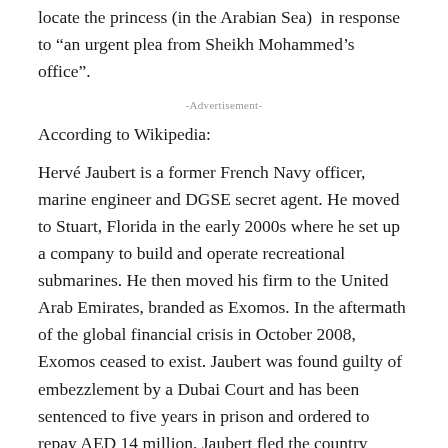locate the princess (in the Arabian Sea) in response to “an urgent plea from Sheikh Mohammed’s office”.
-Advertisement-
According to Wikipedia:
Hervé Jaubert is a former French Navy officer, marine engineer and DGSE secret agent. He moved to Stuart, Florida in the early 2000s where he set up a company to build and operate recreational submarines. He then moved his firm to the United Arab Emirates, branded as Exomos. In the aftermath of the global financial crisis in October 2008, Exomos ceased to exist. Jaubert was found guilty of embezzlement by a Dubai Court and has been sentenced to five years in prison and ordered to repay AED 14 million. Jaubert fled the country